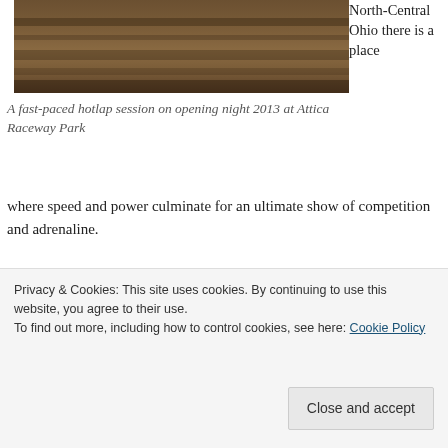[Figure (photo): A fast-paced hotlap session on opening night 2013 at Attica Raceway Park — photo of a dirt/wood-textured surface viewed from above]
A fast-paced hotlap session on opening night 2013 at Attica Raceway Park
North-Central Ohio there is a place where speed and power culminate for an ultimate show of competition and adrenaline.
Attica Raceway Park is in the heart of the Attica Fairgrounds and although locals are used to the rumble of a fast moving train trekking on the property line frequently, the hauling locomotives can't even begin to
horse track giving crews ample room to move,  push
Privacy & Cookies: This site uses cookies. By continuing to use this website, you agree to their use.
To find out more, including how to control cookies, see here: Cookie Policy